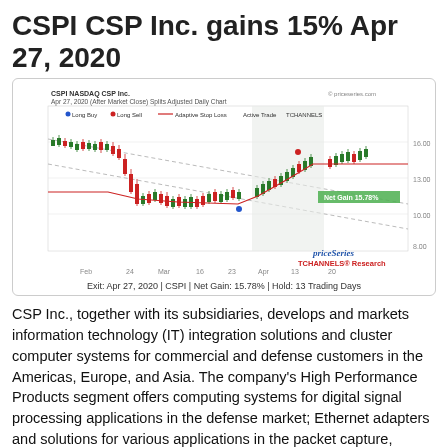CSPI CSP Inc. gains 15% Apr 27, 2020
[Figure (screenshot): Stock chart for CSPI NASDAQ CSP Inc., Apr 27, 2020 (After Market Close), Splits Adjusted Daily Chart from priceseries.com. Shows candlestick price action from February through late April 2020, with a red adaptive stop loss line, long buy (blue dot) and long sell (red dot) markers, TCHANNELS channel lines, a highlighted shaded region around the active trade period, and a green bar labeled Net Gain 15.78%. The chart shows price declining from ~$14 in February, bottoming around $8-9 in March, then rising back to ~$12-13 by late April.]
Exit: Apr 27, 2020 | CSPI | Net Gain: 15.78% | Hold: 13 Trading Days
CSP Inc., together with its subsidiaries, develops and markets information technology (IT) integration solutions and cluster computer systems for commercial and defense customers in the Americas, Europe, and Asia. The company's High Performance Products segment offers computing systems for digital signal processing applications in the defense market; Ethernet adapters and solutions for various applications in the packet capture, financial transaction, broadcast video, and media markets, as well as